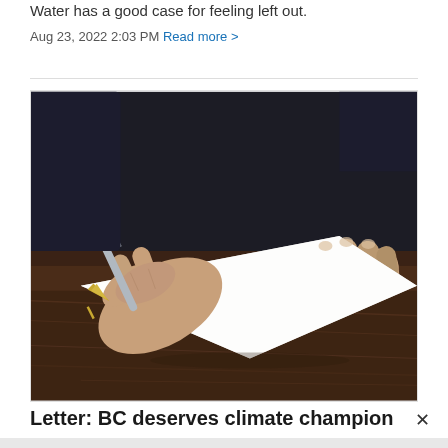Water has a good case for feeling left out.
Aug 23, 2022 2:03 PM Read more >
[Figure (photo): Close-up photograph of a person's hands writing on a white piece of paper with a gold-tipped fountain pen, resting on a dark wooden table surface.]
Letter: BC deserves climate champion